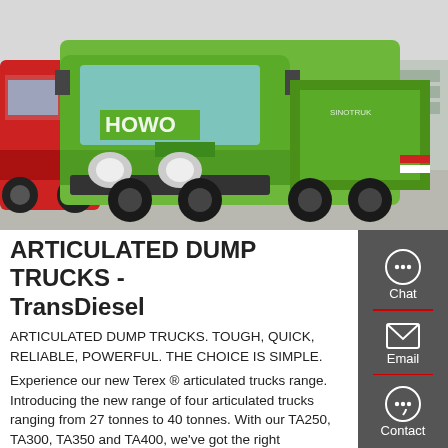[Figure (photo): Green HOWO articulated dump truck parked in a lot, with red truck visible on the left and construction equipment in the background.]
ARTICULATED DUMP TRUCKS - TransDiesel
ARTICULATED DUMP TRUCKS. TOUGH, QUICK, RELIABLE, POWERFUL. THE CHOICE IS SIMPLE.
Experience our new Terex ® articulated trucks range. Introducing the new range of four articulated trucks ranging from 27 tonnes to 40 tonnes. With our TA250, TA300, TA350 and TA400, we've got the right